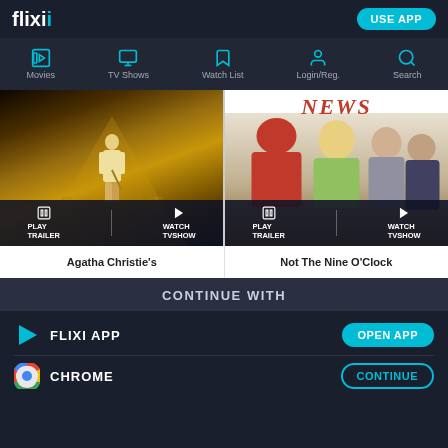flixi USE APP
Movies  TV Shows  Watch List  Login/Reg.  Search
[Figure (screenshot): Two TV show cards side by side. Left card shows Agatha Christie's Poirot with a golden spotlight and figure, with PLAY TRAILER and WATCH TVSHOW buttons. Right card shows Not The Nine O'Clock NEWS with cast photo and red banner, with PLAY TRAILER and WATCH TVSHOW buttons.]
Agatha Christie's
Not The Nine O'Clock
CONTINUE WITH
FLIXI APP
CHROME